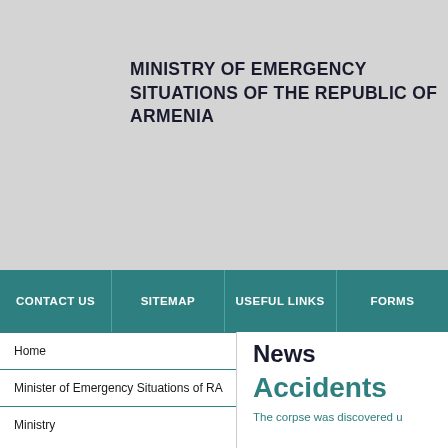MINISTRY OF EMERGENCY SITUATIONS OF THE REPUBLIC OF ARMENIA
CONTACT US | SITEMAP | USEFUL LINKS | FORMS
Home
Minister of Emergency Situations of RA
Ministry
News
Accidents
The corpse was discovered u